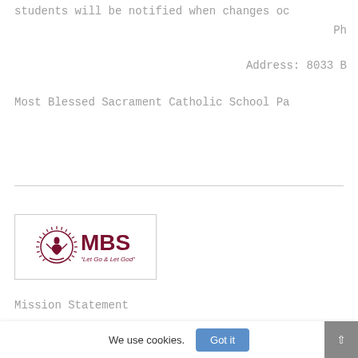students will be notified when changes oc
Ph
Address: 8033 B
Most Blessed Sacrament Catholic School Pa
[Figure (logo): MBS (Most Blessed Sacrament) school logo with circular emblem icon and tagline 'Let Go & Let God']
Mission Statement
We use cookies.
Got it